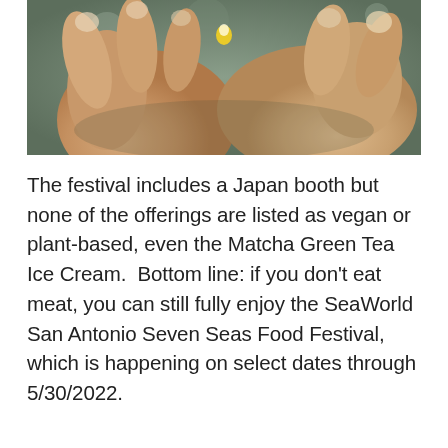[Figure (photo): Close-up photo of a hand holding something small, with a blurred green/grey background suggesting an outdoor setting.]
The festival includes a Japan booth but none of the offerings are listed as vegan or plant-based, even the Matcha Green Tea Ice Cream.  Bottom line: if you don't eat meat, you can still fully enjoy the SeaWorld San Antonio Seven Seas Food Festival, which is happening on select dates through 5/30/2022.